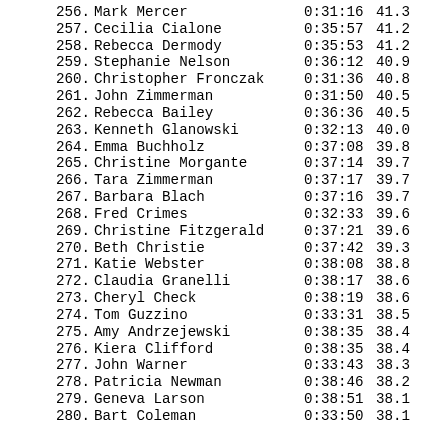256. Mark Mercer 0:31:16 41.3
257. Cecilia Cialone 0:35:57 41.2
258. Rebecca Dermody 0:35:53 41.2
259. Stephanie Nelson 0:36:12 40.9
260. Christopher Fronczak 0:31:36 40.8
261. John Zimmerman 0:31:50 40.5
262. Rebecca Bailey 0:36:36 40.5
263. Kenneth Glanowski 0:32:13 40.0
264. Emma Buchholz 0:37:08 39.8
265. Christine Morgante 0:37:14 39.7
266. Tara Zimmerman 0:37:17 39.7
267. Barbara Blach 0:37:16 39.7
268. Fred Crimes 0:32:33 39.6
269. Christine Fitzgerald 0:37:21 39.6
270. Beth Christie 0:37:42 39.3
271. Katie Webster 0:38:08 38.8
272. Claudia Granelli 0:38:17 38.6
273. Cheryl Check 0:38:19 38.6
274. Tom Guzzino 0:33:31 38.5
275. Amy Andrzejewski 0:38:35 38.4
276. Kiera Clifford 0:38:35 38.4
277. John Warner 0:33:43 38.3
278. Patricia Newman 0:38:46 38.2
279. Geneva Larson 0:38:51 38.1
280. Bart Coleman 0:33:50 38.1